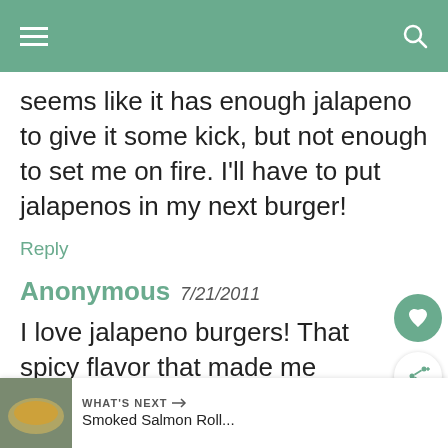seems like it has enough jalapeno to give it some kick, but not enough to set me on fire. I'll have to put jalapenos in my next burger!
Reply
Anonymous 7/21/2011
I love jalapeno burgers! That spicy flavor that made me love salsa so much sounds so good in a burger!
Please check my FTF entry this week: Homemade Puto with Blueberries, Honey